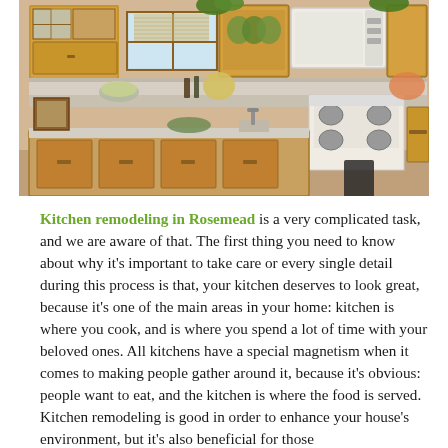[Figure (photo): Photograph of a kitchen with honey-oak wood cabinets, a white microwave, white stove/range, granite countertops with an island, green plants on top of cabinets, and various kitchen items on the counters.]
Kitchen remodeling in Rosemead is a very complicated task, and we are aware of that. The first thing you need to know about why it's important to take care or every single detail during this process is that, your kitchen deserves to look great, because it's one of the main areas in your home: kitchen is where you cook, and is where you spend a lot of time with your beloved ones. All kitchens have a special magnetism when it comes to making people gather around it, because it's obvious: people want to eat, and the kitchen is where the food is served. Kitchen remodeling is good in order to enhance your house's environment, but it's also beneficial for those